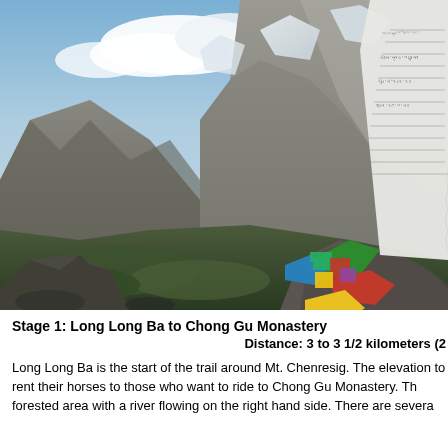[Figure (photo): Mountain landscape with prayer flags in foreground. Steep rocky mountain valley with green valley floor and dramatic cloudy sky. Colorful Tibetan Buddhist prayer flags with Tibetan script visible on the right side of the image.]
Stage 1: Long Long Ba to Chong Gu Monastery
Distance: 3 to 3 1/2 kilometers (2
Long Long Ba is the start of the trail around Mt. Chenresig. The elevation to rent their horses to those who want to ride to Chong Gu Monastery. Th forested area with a river flowing on the right hand side. There are severa